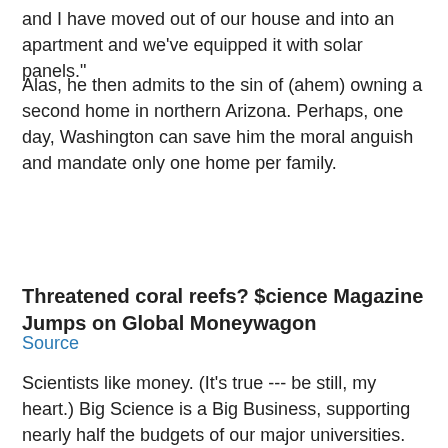and I have moved out of our house and into an apartment and we've equipped it with solar panels."
Alas, he then admits to the sin of (ahem) owning a second home in northern Arizona. Perhaps, one day, Washington can save him the moral anguish and mandate only one home per family.
Source
Threatened coral reefs? $cience Magazine Jumps on Global Moneywagon
Scientists like money. (It's true --- be still, my heart.) Big Science is a Big Business, supporting nearly half the budgets of our major universities. Science professors are only hired if they can swing enough Federal grant money to pay for their laboratories, graduate assistants, and